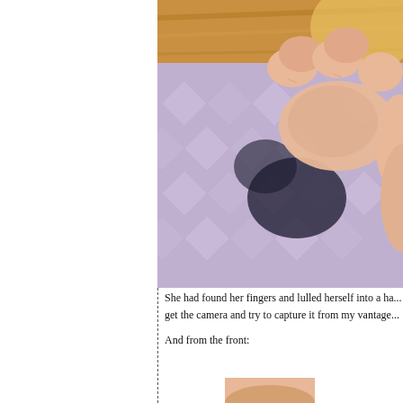[Figure (photo): Close-up photo of a baby's hand and fingers resting on a purple/lavender patterned cloth or blanket, with a wooden surface visible in the background.]
She had found her fingers and lulled herself into a ha... get the camera and try to capture it from my vantage...
And from the front:
[Figure (photo): Partial view of a second photo of the baby, visible at the bottom of the page.]